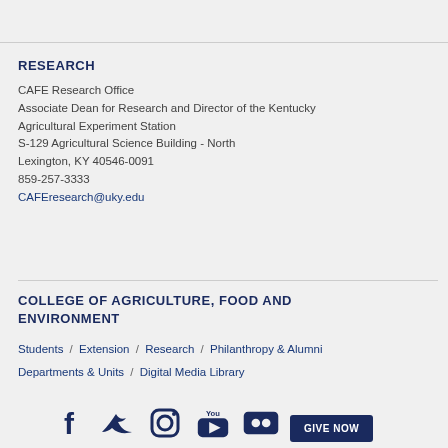RESEARCH
CAFE Research Office
Associate Dean for Research and Director of the Kentucky Agricultural Experiment Station
S-129 Agricultural Science Building - North
Lexington, KY 40546-0091
859-257-3333
CAFEresearch@uky.edu
COLLEGE OF AGRICULTURE, FOOD AND ENVIRONMENT
Students / Extension / Research / Philanthropy & Alumni
Departments & Units / Digital Media Library
[Figure (other): Social media icons: Facebook, Twitter, Instagram, YouTube, Flickr, and a GIVE NOW button]